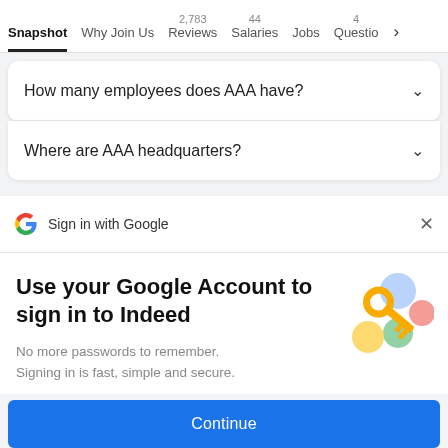Snapshot | Why Join Us | 2,783 Reviews | 44 Salaries | Jobs | 4 Questions
How many employees does AAA have?
Where are AAA headquarters?
Sign in with Google
Use your Google Account to sign in to Indeed
No more passwords to remember. Signing in is fast, simple and secure.
[Figure (illustration): Colorful illustration of a golden key with circular shapes in blue, yellow, green, and pink/red, representing Google account security.]
Continue